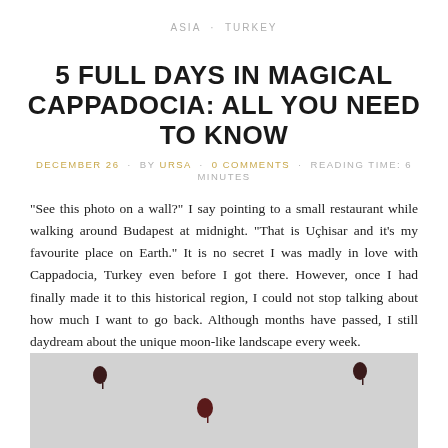ASIA · TURKEY
5 FULL DAYS IN MAGICAL CAPPADOCIA: ALL YOU NEED TO KNOW
DECEMBER 26 · BY URSA · 0 COMMENTS · READING TIME: 6 MINUTES
"See this photo on a wall?" I say pointing to a small restaurant while walking around Budapest at midnight. "That is Uçhisar and it's my favourite place on Earth." It is no secret I was madly in love with Cappadocia, Turkey even before I got there. However, once I had finally made it to this historical region, I could not stop talking about how much I want to go back. Although months have passed, I still daydream about the unique moon-like landscape every week.
[Figure (photo): Sky with hot air balloons over Cappadocia, gray/overcast sky with three small dark hot air balloons visible]